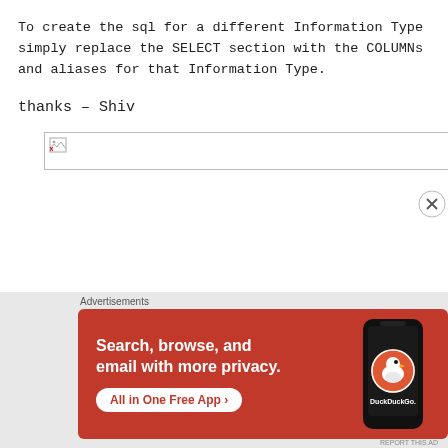To create the sql for a different Information Type simply replace the SELECT section with the COLUMNs and aliases for that Information Type.
thanks – Shiv
[Figure (other): Broken image placeholder box with small broken image icon in top-left corner]
Advertisements
[Figure (other): DuckDuckGo advertisement banner on orange/red background. Text: Search, browse, and email with more privacy. All in One Free App. DuckDuckGo logo with duck icon on a phone illustration.]